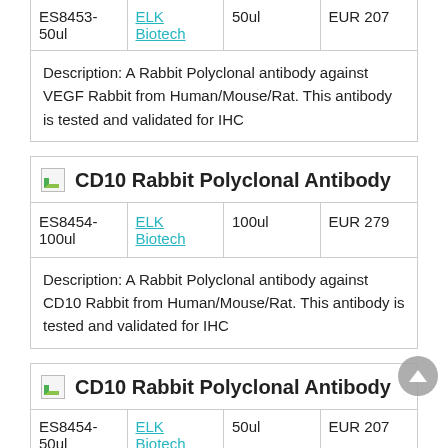| ES8453-50ul | ELK Biotech | 50ul | EUR 207 |
| --- | --- | --- | --- |
Description: A Rabbit Polyclonal antibody against VEGF Rabbit from Human/Mouse/Rat. This antibody is tested and validated for IHC
[Figure (photo): Small thumbnail image placeholder for CD10 Rabbit Polyclonal Antibody product]
CD10 Rabbit Polyclonal Antibody
| ES8454-100ul | ELK Biotech | 100ul | EUR 279 |
| --- | --- | --- | --- |
Description: A Rabbit Polyclonal antibody against CD10 Rabbit from Human/Mouse/Rat. This antibody is tested and validated for IHC
[Figure (photo): Small thumbnail image placeholder for second CD10 Rabbit Polyclonal Antibody product]
CD10 Rabbit Polyclonal Antibody
| ES8454-50ul | ELK Biotech | 50ul | EUR 207 |
| --- | --- | --- | --- |